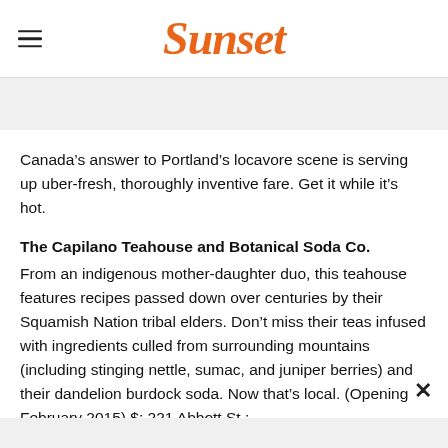Sunset
Canada’s answer to Portland’s locavore scene is serving up uber-fresh, thoroughly inventive fare. Get it while it’s hot.
The Capilano Teahouse and Botanical Soda Co.
From an indigenous mother-daughter duo, this teahouse features recipes passed down over centuries by their Squamish Nation tribal elders. Don’t miss their teas infused with ingredients culled from surrounding mountains (including stinging nettle, sumac, and juniper berries) and their dandelion burdock soda. Now that’s local. (Opening February 2015) $; 221 Abbott St.;